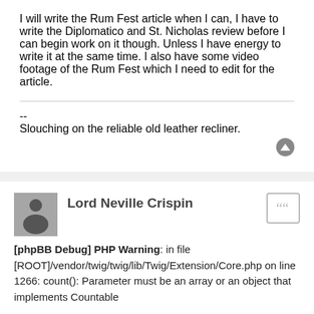I will write the Rum Fest article when I can, I have to write the Diplomatico and St. Nicholas review before I can begin work on it though. Unless I have energy to write it at the same time. I also have some video footage of the Rum Fest which I need to edit for the article.
--
Slouching on the reliable old leather recliner.
Lord Neville Crispin
[phpBB Debug] PHP Warning: in file [ROOT]/vendor/twig/twig/lib/Twig/Extension/Core.php on line 1266: count(): Parameter must be an array or an object that implements Countable
Tue Nov 25, 2008 11:33 am
sounds like it was a good time. any memorable whisky drinking old bean?